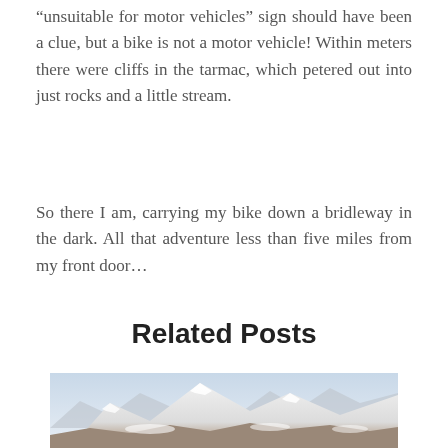“unsuitable for motor vehicles” sign should have been a clue, but a bike is not a motor vehicle! Within meters there were cliffs in the tarmac, which petered out into just rocks and a little stream.
So there I am, carrying my bike down a bridleway in the dark. All that adventure less than five miles from my front door...
Related Posts
[Figure (photo): Snowy mountain landscape with peaks and rocky terrain under winter conditions.]